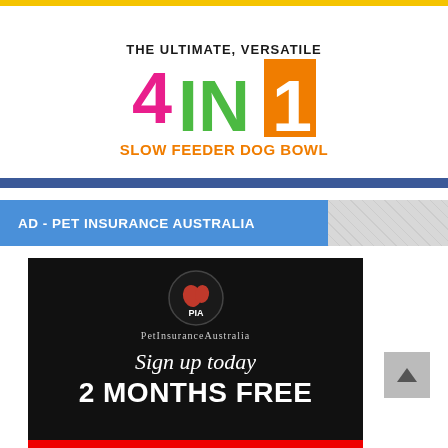[Figure (infographic): Product advertisement for '4 IN 1 Slow Feeder Dog Bowl' with colorful large text on white background. '4' in pink/magenta, 'IN' in teal/cyan, '1' in orange. Subtitle says 'THE ULTIMATE, VERSATILE' and below 'SLOW FEEDER DOG BOWL' in orange.]
AD - PET INSURANCE AUSTRALIA
[Figure (advertisement): Pet Insurance Australia advertisement on black background. PIA logo (circular badge with red kangaroo map of Australia). Text: 'PetInsuranceAustralia', 'Sign up today', '2 MONTHS FREE'. Red bar at bottom.]